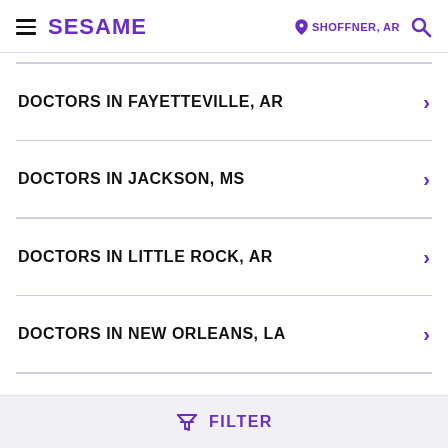SESAME | SHOFFNER, AR
DOCTORS IN FAYETTEVILLE, AR
DOCTORS IN JACKSON, MS
DOCTORS IN LITTLE ROCK, AR
DOCTORS IN NEW ORLEANS, LA
FILTER